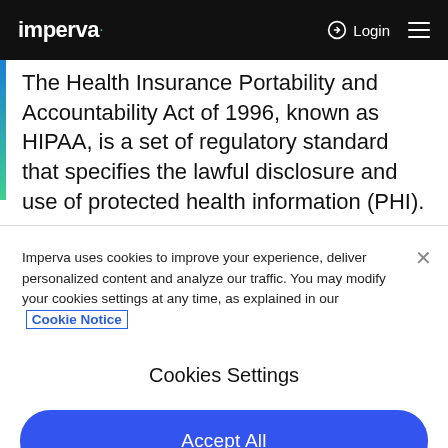imperva  Login
The Health Insurance Portability and Accountability Act of 1996, known as HIPAA, is a set of regulatory standard that specifies the lawful disclosure and use of protected health information (PHI).
Imperva uses cookies to improve your experience, deliver personalized content and analyze our traffic. You may modify your cookies settings at any time, as explained in our Cookie Notice
Cookies Settings
Accept All